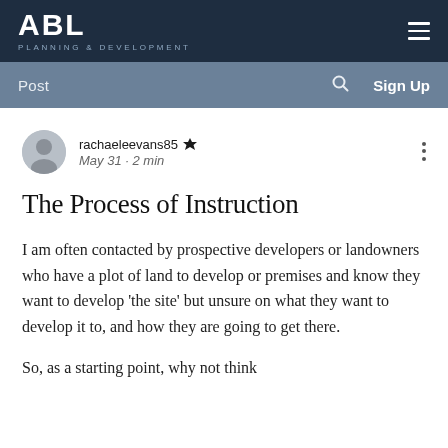ABL PLANNING & DEVELOPMENT
Post  Sign Up
rachaeleevans85 👑
May 31 · 2 min
The Process of Instruction
I am often contacted by prospective developers or landowners who have a plot of land to develop or premises and know they want to develop 'the site' but unsure on what they want to develop it to, and how they are going to get there.
So, as a starting point, why not think